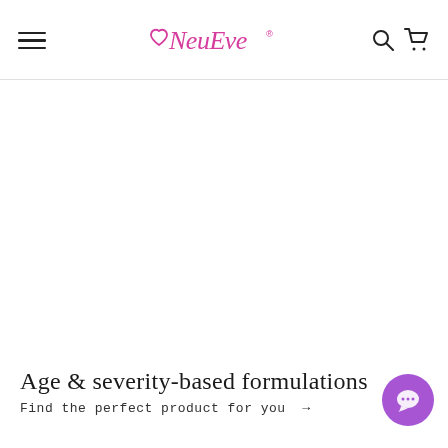NeuEve — navigation header with hamburger menu, logo, search and cart icons
Age & severity-based formulations
Find the perfect product for you →